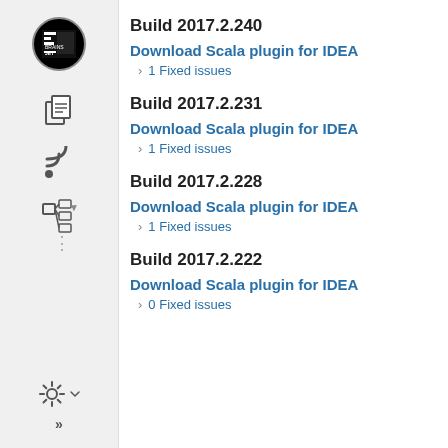[Figure (screenshot): JetBrains IDE sidebar with icons: JetBrains logo, document/copy icon, RSS feed icon, tree/hierarchy icon, dots (drag handle), gear/settings icon, chevrons]
Build 2017.2.240
Download Scala plugin for IDEA
› 1 Fixed issues
Build 2017.2.231
Download Scala plugin for IDEA
› 1 Fixed issues
Build 2017.2.228
Download Scala plugin for IDEA
› 1 Fixed issues
Build 2017.2.222
Download Scala plugin for IDEA
› 0 Fixed issues